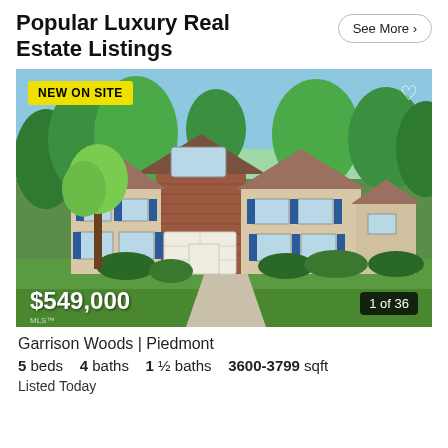Popular Luxury Real Estate Listings
See More >
[Figure (photo): Two-story luxury home with brick facade, blue shutters, white garage door, surrounded by large green trees and manicured lawn. Badge: NEW ON SITE. Price: $549,000. Photo count: 1 of 36.]
Garrison Woods | Piedmont
5 beds   4 baths   1 ½ baths   3600-3799 sqft
Listed Today